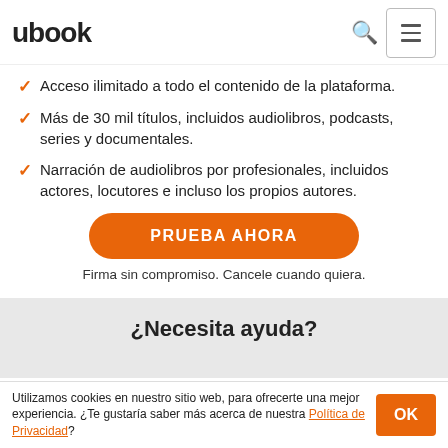ubook
Acceso ilimitado a todo el contenido de la plataforma.
Más de 30 mil títulos, incluidos audiolibros, podcasts, series y documentales.
Narración de audiolibros por profesionales, incluidos actores, locutores e incluso los propios autores.
PRUEBA AHORA
Firma sin compromiso. Cancele cuando quiera.
¿Necesita ayuda?
Utilizamos cookies en nuestro sitio web, para ofrecerte una mejor experiencia. ¿Te gustaría saber más acerca de nuestra Política de Privacidad?